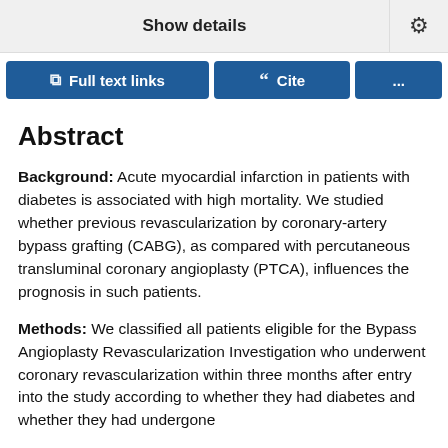Show details
Full text links | Cite | ...
Abstract
Background: Acute myocardial infarction in patients with diabetes is associated with high mortality. We studied whether previous revascularization by coronary-artery bypass grafting (CABG), as compared with percutaneous transluminal coronary angioplasty (PTCA), influences the prognosis in such patients.
Methods: We classified all patients eligible for the Bypass Angioplasty Revascularization Investigation who underwent coronary revascularization within three months after entry into the study according to whether they had diabetes and whether they had undergone